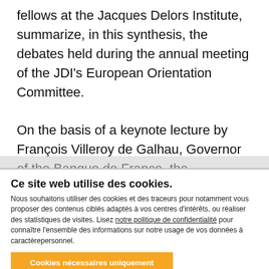fellows at the Jacques Delors Institute, summarize, in this synthesis, the debates held during the annual meeting of the JDI's European Orientation Committee.

On the basis of a keynote lecture by François Villeroy de Galhau, Governor of the Banque de France, the participants discussed the main steps required to complete the Economic and Monetary Union (EMU).
Ce site web utilise des cookies.
Nous souhaitons utiliser des cookies et des traceurs pour notamment vous proposer des contenus ciblés adaptés à vos centres d'intérêts, ou réaliser des statistiques de visites. Lisez notre politique de confidentialité pour connaître l'ensemble des informations sur notre usage de vos données à caractèrepersonnel.
Cookies nécessaires uniquement
Autoriser tous les cookies
Afficher les détails